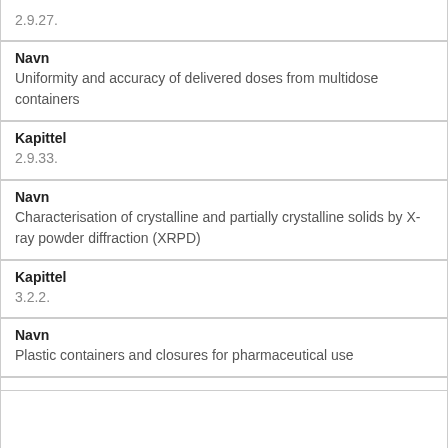| 2.9.27. |
| Navn | Uniformity and accuracy of delivered doses from multidose containers |
| Kapittel | 2.9.33. |
| Navn | Characterisation of crystalline and partially crystalline solids by X-ray powder diffraction (XRPD) |
| Kapittel | 3.2.2. |
| Navn | Plastic containers and closures for pharmaceutical use |